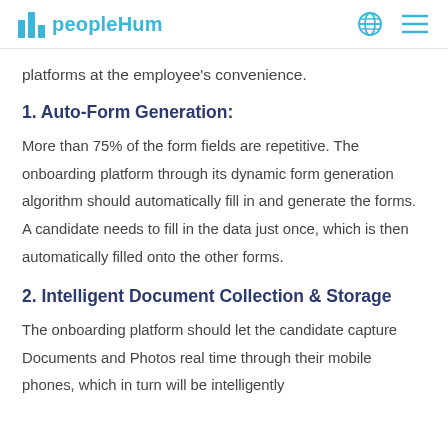peopleHum
platforms at the employee's convenience.
1. Auto-Form Generation:
More than 75% of the form fields are repetitive. The onboarding platform through its dynamic form generation algorithm should automatically fill in and generate the forms. A candidate needs to fill in the data just once, which is then automatically filled onto the other forms.
2. Intelligent Document Collection & Storage
The onboarding platform should let the candidate capture Documents and Photos real time through their mobile phones, which in turn will be intelligently...